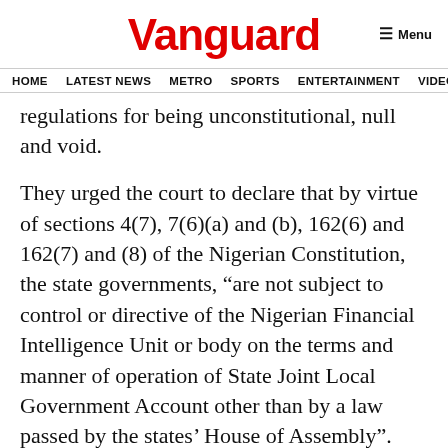Vanguard
HOME  LATEST NEWS  METRO  SPORTS  ENTERTAINMENT  VIDEOS
regulations for being unconstitutional, null and void.
They urged the court to declare that by virtue of sections 4(7), 7(6)(a) and (b), 162(6) and 162(7) and (8) of the Nigerian Constitution, the state governments, “are not subject to control or directive of the Nigerian Financial Intelligence Unit or body on the terms and manner of operation of State Joint Local Government Account other than by a law passed by the states’ House of Assembly”.